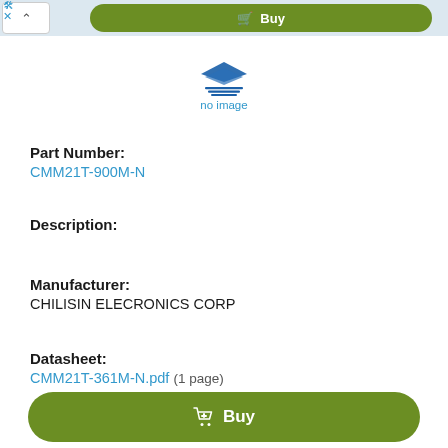[Figure (logo): Chilisin Electronics logo - blue stylized layered diamond/book shape above horizontal lines]
no image
Part Number:
CMM21T-900M-N
Description:
Manufacturer:
CHILISIN ELECRONICS CORP
Datasheet:
CMM21T-361M-N.pdf  (1 page)